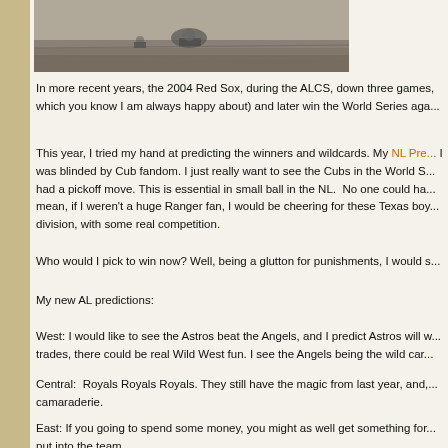[Figure (photo): Black and white photograph of a baseball player sliding or running on a field]
In more recent years, the 2004 Red Sox, during the ALCS, down three games, which you know I am always happy about) and later win the World Series aga...
This year, I tried my hand at predicting the winners and wildcards. My NL Pre... I was blinded by Cub fandom. I just really want to see the Cubs in the World S... had a pickoff move. This is essential in small ball in the NL.  No one could ha... mean, if I weren't a huge Ranger fan, I would be cheering for these Texas boy... division, with some real competition.
Who would I pick to win now? Well, being a glutton for punishments, I would s...
My new AL predictions:
West: I would like to see the Astros beat the Angels, and I predict Astros will w... trades, there could be real Wild West fun. I see the Angels being the wild car...
Central:  Royals Royals Royals. They still have the magic from last year, and,... camaraderie.
East: If you going to spend some money, you might as well get something for... put into the team.